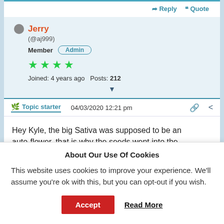Reply   Quote
Jerry (@aj999) Member Admin Joined: 4 years ago  Posts: 212
Topic starter   04/03/2020 12:21 pm
Hey Kyle, the big Sativa was supposed to be an auto-flower, that is why the seeds went into the free seed jar. I would say she reminded me of a
About Our Use Of Cookies
This website uses cookies to improve your experience. We'll assume you're ok with this, but you can opt-out if you wish.
Accept   Read More